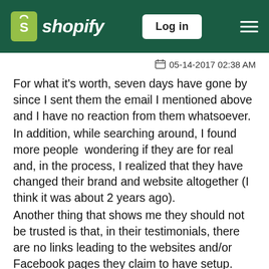[Figure (logo): Shopify logo with green shopping bag icon and white italic text 'shopify', alongside a Log in button and hamburger menu, on a dark green header bar]
05-14-2017 02:38 AM
For what it's worth, seven days have gone by since I sent them the email I mentioned above and I have no reaction from them whatsoever.
In addition, while searching around, I found more people  wondering if they are for real and, in the process, I realized that they have changed their brand and website altogether (I think it was about 2 years ago).
Another thing that shows me they should not be trusted is that, in their testimonials, there are no links leading to the websites and/or Facebook pages they claim to have setup. Interesting approach ....